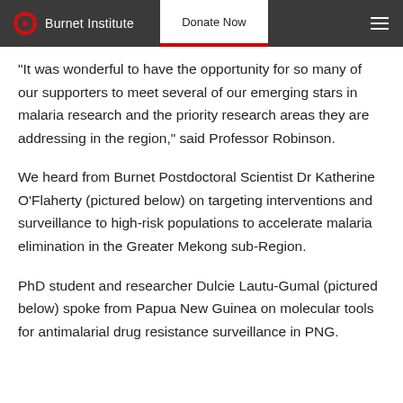Burnet Institute | Donate Now
“It was wonderful to have the opportunity for so many of our supporters to meet several of our emerging stars in malaria research and the priority research areas they are addressing in the region,” said Professor Robinson.
We heard from Burnet Postdoctoral Scientist Dr Katherine O’Flaherty (pictured below) on targeting interventions and surveillance to high-risk populations to accelerate malaria elimination in the Greater Mekong sub-Region.
PhD student and researcher Dulcie Lautu-Gumal (pictured below) spoke from Papua New Guinea on molecular tools for antimalarial drug resistance surveillance in PNG.